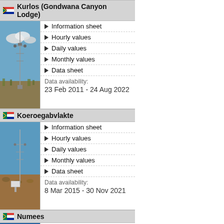Kurlos (Gondwana Canyon Lodge)
[Figure (photo): Weather station mast in semi-arid landscape with blue sky and clouds]
Information sheet
Hourly values
Daily values
Monthly values
Data sheet
Data availability:
23 Feb 2011 - 24 Aug 2022
Koeroegabvlakte
[Figure (photo): Weather station mast in arid scrubland with blue sky]
Information sheet
Hourly values
Daily values
Monthly values
Data sheet
Data availability:
8 Mar 2015 - 30 Nov 2021
Numees
[Figure (photo): Weather station in rocky mountainous terrain with blue sky]
Information sheet
Hourly values
Daily values
Monthly values
Data sheet
Data availability:
6 Mar 2015 - 23 Aug 2022